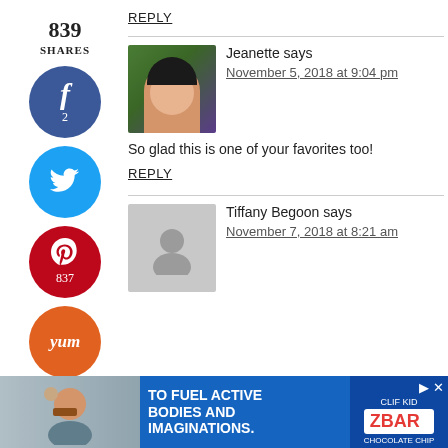REPLY
[Figure (infographic): Social share sidebar with counts: 839 SHARES, Facebook (2), Twitter, Pinterest (837), Yummly]
[Figure (photo): Profile photo of Jeanette, an Asian woman in a purple shirt outdoors]
Jeanette says
November 5, 2018 at 9:04 pm
So glad this is one of your favorites too!
REPLY
[Figure (photo): Grey placeholder avatar for Tiffany Begoon]
Tiffany Begoon says
November 7, 2018 at 8:21 am
[Figure (infographic): Advertisement banner: TO FUEL ACTIVE BODIES AND IMAGINATIONS. ZBAR chocolate chip bar ad]